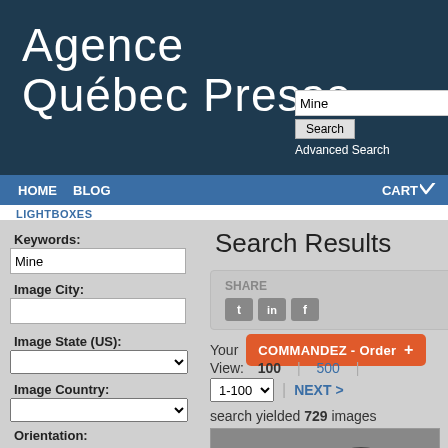Agence Québec Presse
Mine
Advanced Search
HOME  BLOG
CART
LIGHTBOXES
Search Results
Keywords:
Mine
Image City:
Image State (US):
Image Country:
SHARE
Your  COMMANDEZ - Order +
View: 100 | 500 |
1-100  NEXT >
search yielded 729 images
Orientation:
Vertical
Horizontal
Square
Panoramic
[Figure (photo): Black and white photograph showing people]